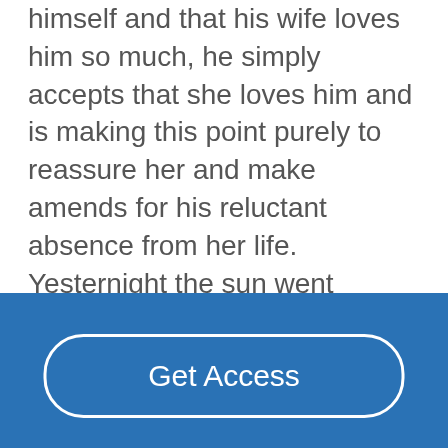himself and that his wife loves him so much, he simply accepts that she loves him and is making this point purely to reassure her and make amends for his reluctant absence from her life. Yesternight the sun went hence, And yet is here today... ... middle of paper ... .... This poem, he is trying to stop her from leaving by talking to her and asking her. However, they both tell of their relationship and of their love. In answer to my beginning statement that I do not think that John Donne is more concerned with writing about himself than with adoring his mistress, I still believe that....
Read More
Get Access